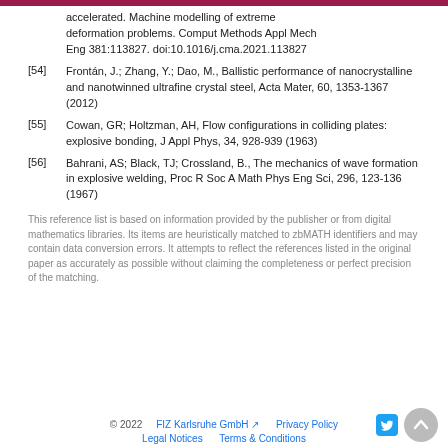accelerated. Machine modelling of extreme deformation problems. Comput Methods Appl Mech Eng 381:113827. doi:10.1016/j.cma.2021.113827
[54] Frontán, J.; Zhang, Y.; Dao, M., Ballistic performance of nanocrystalline and nanotwinned ultrafine crystal steel, Acta Mater, 60, 1353-1367 (2012)
[55] Cowan, GR; Holtzman, AH, Flow configurations in colliding plates: explosive bonding, J Appl Phys, 34, 928-939 (1963)
[56] Bahrani, AS; Black, TJ; Crossland, B., The mechanics of wave formation in explosive welding, Proc R Soc A Math Phys Eng Sci, 296, 123-136 (1967)
This reference list is based on information provided by the publisher or from digital mathematics libraries. Its items are heuristically matched to zbMATH identifiers and may contain data conversion errors. It attempts to reflect the references listed in the original paper as accurately as possible without claiming the completeness or perfect precision of the matching.
© 2022   FIZ Karlsruhe GmbH   Privacy Policy   Legal Notices   Terms & Conditions